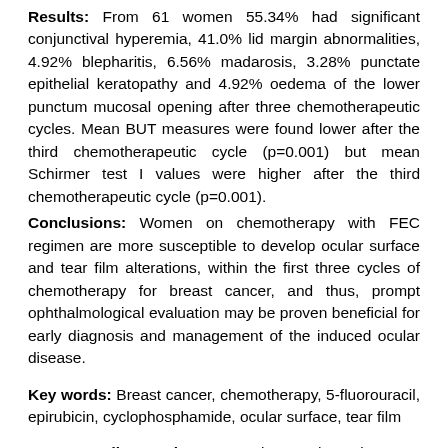Results: From 61 women 55.34% had significant conjunctival hyperemia, 41.0% lid margin abnormalities, 4.92% blepharitis, 6.56% madarosis, 3.28% punctate epithelial keratopathy and 4.92% oedema of the lower punctum mucosal opening after three chemotherapeutic cycles. Mean BUT measures were found lower after the third chemotherapeutic cycle (p=0.001) but mean Schirmer test I values were higher after the third chemotherapeutic cycle (p=0.001).
Conclusions: Women on chemotherapy with FEC regimen are more susceptible to develop ocular surface and tear film alterations, within the first three cycles of chemotherapy for breast cancer, and thus, prompt ophthalmological evaluation may be proven beneficial for early diagnosis and management of the induced ocular disease.
Key words: Breast cancer, chemotherapy, 5-fluorouracil, epirubicin, cyclophosphamide, ocular surface, tear film
Corresponding author: Karamitsos Athanasios MD, PhD